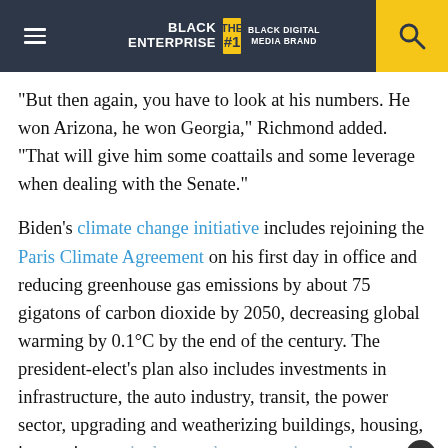BLACK ENTERPRISE THE #1 BLACK DIGITAL MEDIA BRAND
“But then again, you have to look at his numbers. He won Arizona, he won Georgia,” Richmond added. “That will give him some coattails and some leverage when dealing with the Senate.”
Biden’s climate change initiative includes rejoining the Paris Climate Agreement on his first day in office and reducing greenhouse gas emissions by about 75 gigatons of carbon dioxide by 2050, decreasing global warming by 0.1°C by the end of the century. The president-elect’s plan also includes investments in infrastructure, the auto industry, transit, the power sector, upgrading and weatherizing buildings, housing, innovation, agriculture and conservation, and environmental justice initiatives.